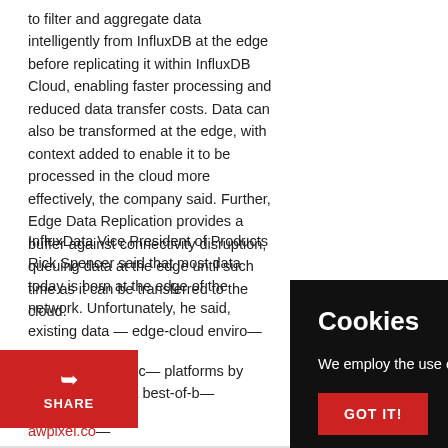to filter and aggregate data intelligently from InfluxDB at the edge before replicating it within InfluxDB Cloud, enabling faster processing and reduced data transfer costs. Data can also be transformed at the edge, with context added to enable it to be processed in the cloud more effectively, the company said. Further, Edge Data Replication provides a buffer against connectivity disruption, queuing data at the edge until such time as it can be transferred to the cloud.
InfluxData Vice President of Products Rick Spencer said that most data today is born at the edge of the network. Unfortunately, he said, existing data — edge-cloud enviro—
"Edge Data Replic— platforms by comb— edge – a best-of-b— distributed applica—
awpixel.co—
[Figure (other): Red SHARE button with arrow icon in bottom left corner]
[Figure (other): Black cookie consent overlay with title 'Cookies', text 'We employ the use of cookies. Find out more.' and a red 'GOT IT!' button]